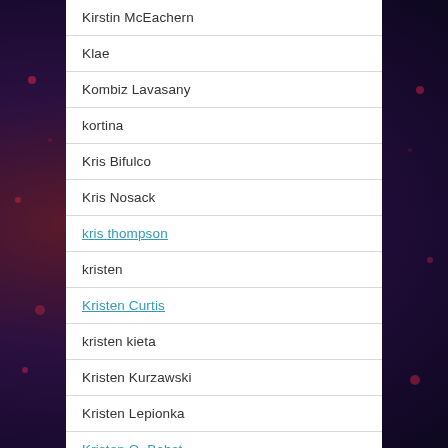Kirstin McEachern
Klae
Kombiz Lavasany
kortina
Kris Bifulco
Kris Nosack
kris thompson
kristen
Kristen Curtis
kristen kieta
Kristen Kurzawski
Kristen Lepionka
Kristen O. Bobst
Kristian Eskildsen